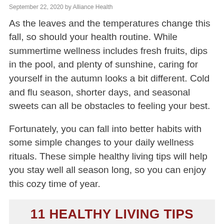September 22, 2020 by Alliance Health
As the leaves and the temperatures change this fall, so should your health routine. While summertime wellness includes fresh fruits, dips in the pool, and plenty of sunshine, caring for yourself in the autumn looks a bit different. Cold and flu season, shorter days, and seasonal sweets can all be obstacles to feeling your best.
Fortunately, you can fall into better habits with some simple changes to your daily wellness rituals. These simple healthy living tips will help you stay well all season long, so you can enjoy this cozy time of year.
[Figure (infographic): Banner with bold dark red text reading '11 HEALTHY LIVING TIPS FOR FALL' on a light gray background]